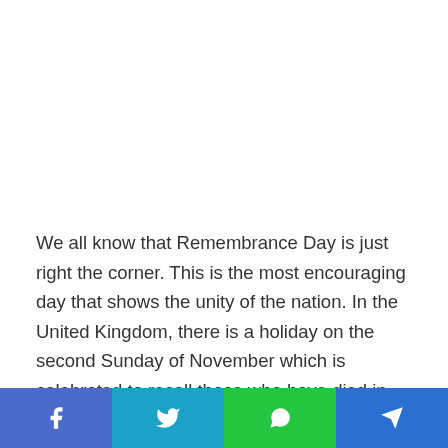We all know that Remembrance Day is just right the corner. This is the most encouraging day that shows the unity of the nation. In the United Kingdom, there is a holiday on the second Sunday of November which is celebrated to recall those who have died in the world war 1 and afterward. Traditionally there is a two-minute silence, everywhere in the